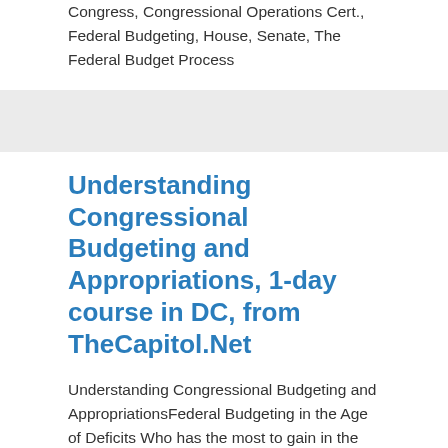Congress, Congressional Operations Cert., Federal Budgeting, House, Senate, The Federal Budget Process
Understanding Congressional Budgeting and Appropriations, 1-day course in DC, from TheCapitol.Net
Understanding Congressional Budgeting and AppropriationsFederal Budgeting in the Age of Deficits Who has the most to gain in the budgeting process? Where are you most effective? Where does your power lie in the budget process? This real-world overview of the congressional budget process explores basic congressional budget process concepts along with key players, their roles … Read more